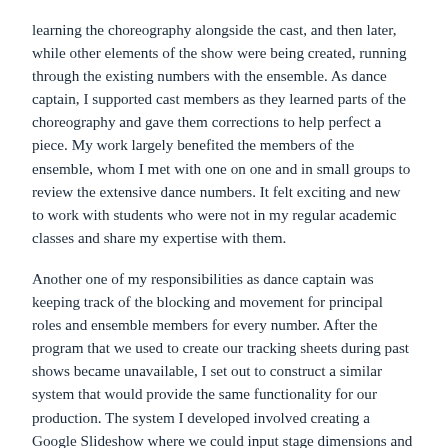learning the choreography alongside the cast, and then later, while other elements of the show were being created, running through the existing numbers with the ensemble. As dance captain, I supported cast members as they learned parts of the choreography and gave them corrections to help perfect a piece. My work largely benefited the members of the ensemble, whom I met with one on one and in small groups to review the extensive dance numbers. It felt exciting and new to work with students who were not in my regular academic classes and share my expertise with them.
Another one of my responsibilities as dance captain was keeping track of the blocking and movement for principal roles and ensemble members for every number. After the program that we used to create our tracking sheets during past shows became unavailable, I set out to construct a similar system that would provide the same functionality for our production. The system I developed involved creating a Google Slideshow where we could input stage dimensions and set pieces and document each cast member's blocking and choreography. In fact, the system I created is currently being used to help record choreography and document scene blocking for our upcoming spring productions. Ms. van